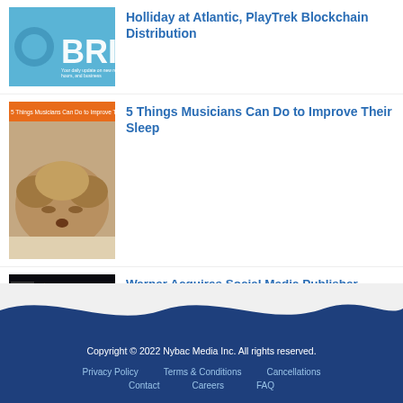[Figure (photo): Partial newsletter thumbnail with blue background and white text 'BRI']
Holliday at Atlantic, PlayTrek Blockchain Distribution
[Figure (photo): Sleeping fluffy dog on a light background, with orange banner at top reading '5 Things Musicians Can Do to Improve Their...']
5 Things Musicians Can Do to Improve Their Sleep
[Figure (photo): Dark background with yellow text listing topics including 'Warner Music acquires social media publishing platform', 'Independent Music's Fight for Survival', 'Staying True to who you are', 'How to trust intuition when dealing with someone'. Labels 'ESDAY ALKIES' visible on left side.]
Warner Acquires Social Media Publisher. Independent Music's Fight for Survival, Staying True to Who You Are. How to Trust Your Intuition.
Copyright © 2022 Nybac Media Inc. All rights reserved. Privacy Policy  Terms & Conditions  Cancellations  Contact  Careers  FAQ